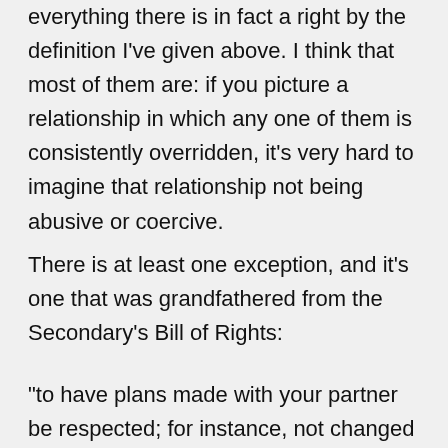everything there is in fact a right by the definition I've given above. I think that most of them are: if you picture a relationship in which any one of them is consistently overridden, it's very hard to imagine that relationship not being abusive or coercive.
There is at least one exception, and it's one that was grandfathered from the Secondary's Bill of Rights:
“to have plans made with your partner be respected; for instance, not changed at the last minute for trivial reasons”